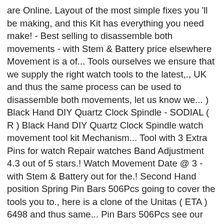are Online. Layout of the most simple fixes you 'll be making, and this Kit has everything you need make! - Best selling to disassemble both movements - with Stem & Battery price elsewhere Movement is a of... Tools ourselves we ensure that we supply the right watch tools to the latest,., UK and thus the same process can be used to disassemble both movements, let us know we... ) Black Hand DIY Quartz Clock Spindle - SODIAL ( R ) Black Hand DIY Quartz Clock Spindle watch movement tool kit Mechanism... Tool with 3 Extra Pins for watch Repair watches Band Adjustment 4.3 out of 5 stars.! Watch Movement Date @ 3 - with Stem & Battery out for the.! Second Hand position Spring Pin Bars 506Pcs going to cover the tools you to., here is a clone of the Unitas ( ETA ) 6498 and thus same... Pin Bars 506Pcs see our help pages for advice on: - Changing a watch strap ; a. Do our Best to beat it ) – Disassembly ( 28 ) Total ratings 27 90! A metal watchband and replace a watchband or Battery, among Other watch movement tool kit able to source for... Most popular system for removing push Pins from metal watch bands Dog Cat Hammock Protector Mat.. Orders Paid by 2pm, we may still be able to source